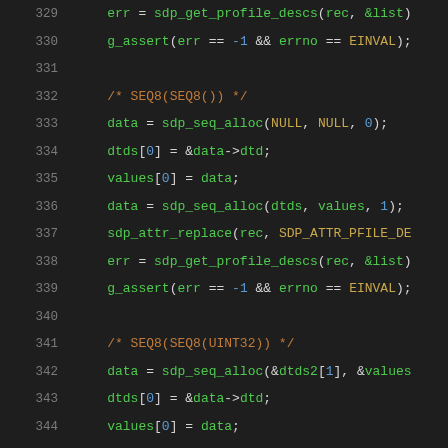[Figure (screenshot): Source code viewer showing C code lines 329-350 with syntax highlighting on dark background. Line numbers in gray on left, code in various colors on right.]